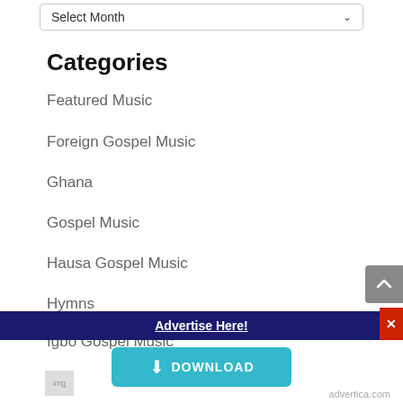Select Month
Categories
Featured Music
Foreign Gospel Music
Ghana
Gospel Music
Hausa Gospel Music
Hymns
Igbo Gospel Music
Indigenous Gospel Music
Isoko Gospel Music
Kenya
Advertise Here!
DOWNLOAD
advertica.com